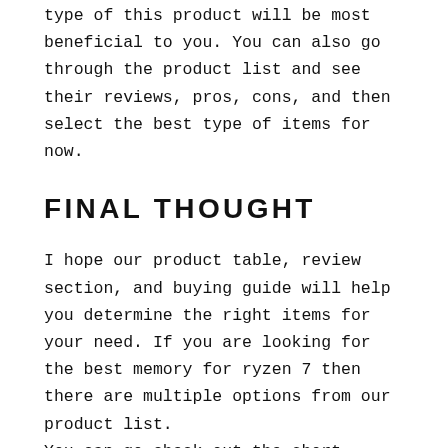type of this product will be most beneficial to you. You can also go through the product list and see their reviews, pros, cons, and then select the best type of items for now.
FINAL THOUGHT
I hope our product table, review section, and buying guide will help you determine the right items for your need. If you are looking for the best memory for ryzen 7 then there are multiple options from our product list.
You can go check out the short features of these items from our review to pick one or two to check for further reviews. Click these products and see the reviews of the customers, description of the